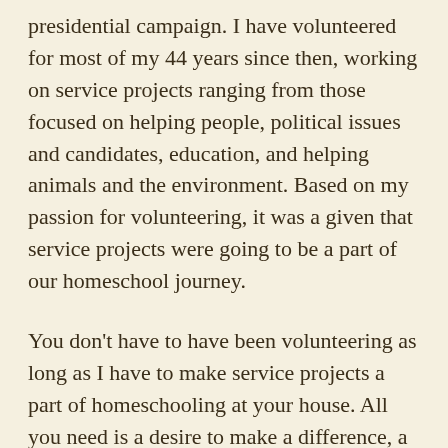presidential campaign. I have volunteered for most of my 44 years since then, working on service projects ranging from those focused on helping people, political issues and candidates, education, and helping animals and the environment. Based on my passion for volunteering, it was a given that service projects were going to be a part of our homeschool journey.
You don't have to have been volunteering as long as I have to make service projects a part of homeschooling at your house. All you need is a desire to make a difference, a willingness to help out through volunteering, and time. Based on my experiences, I wrote a set of guidelines to help you get started incorporating service projects in your child's eclectic,